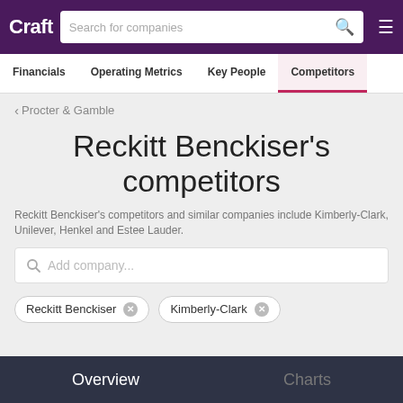Craft | Search for companies
Financials | Operating Metrics | Key People | Competitors
< Procter & Gamble
Reckitt Benckiser's competitors
Reckitt Benckiser's competitors and similar companies include Kimberly-Clark, Unilever, Henkel and Estee Lauder.
Add company...
Reckitt Benckiser   Kimberly-Clark
Overview   Charts